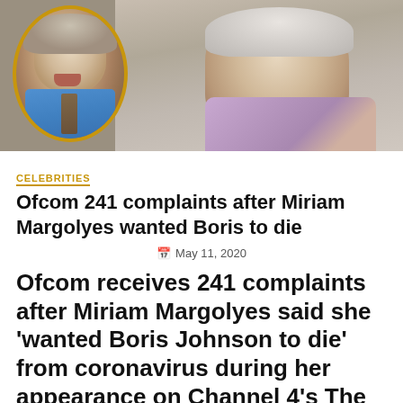[Figure (photo): Two people shown: a man (Boris Johnson) in a circular inset on the left with a gold border, and an older woman (Miriam Margolyes) on the right, both appearing to speak]
CELEBRITIES
Ofcom 241 complaints after Miriam Margolyes wanted Boris to die
May 11, 2020
Ofcom receives 241 complaints after Miriam Margolyes said she 'wanted Boris Johnson to die' from coronavirus during her appearance on Channel 4's The Last Leg